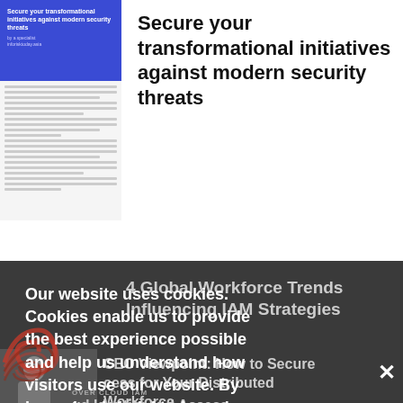[Figure (screenshot): Thumbnail of document with blue cover showing title 'Secure your transformational initiatives against modern security threats']
Secure your transformational initiatives against modern security threats
[Figure (screenshot): Cookie consent overlay text: 'Our website uses cookies. Cookies enable us to provide the best experience possible and help us understand how visitors use our website. By browsing inforisktoday.asia, you agree to our use of cookies.']
4 Global Workforce Trends Influencing IAM Strategies
[Figure (screenshot): Video thumbnail of a person in suit]
CEO Viewpoint: How to Secure cess for Your Distributed Workforce
OVER CLOUD IAM
ud Identity and Access Management